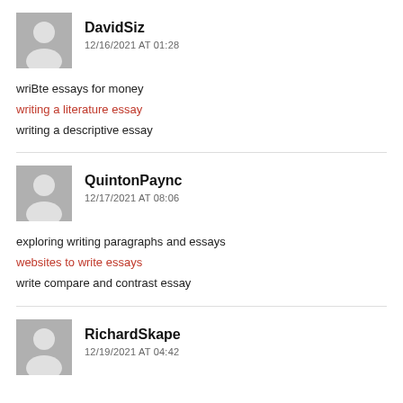[Figure (illustration): Gray placeholder avatar icon for user DavidSiz]
DavidSiz
12/16/2021 AT 01:28
wriBte essays for money
writing a literature essay
writing a descriptive essay
[Figure (illustration): Gray placeholder avatar icon for user QuintonPaync]
QuintonPaync
12/17/2021 AT 08:06
exploring writing paragraphs and essays
websites to write essays
write compare and contrast essay
[Figure (illustration): Gray placeholder avatar icon for user RichardSkape]
RichardSkape
12/19/2021 AT 04:42